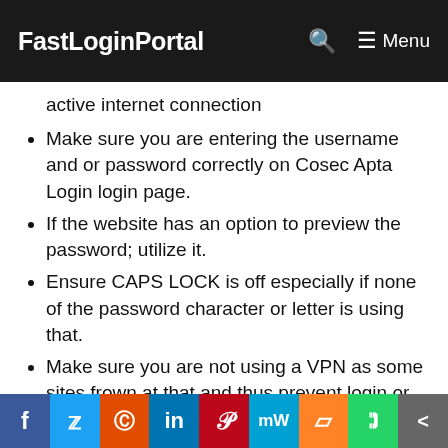FastLoginPortal    🔍  ☰ Menu
active internet connection
Make sure you are entering the username and or password correctly on Cosec Apta Login login page.
If the website has an option to preview the password; utilize it.
Ensure CAPS LOCK is off especially if none of the password character or letter is using that.
Make sure you are not using a VPN as some sites frown at that and thus prevent login or access to their portal.
If all the above checks out and you are still unable to login to Cosec Apta
f  🐦  reddit  in  P  mW  m  WhatsApp  <